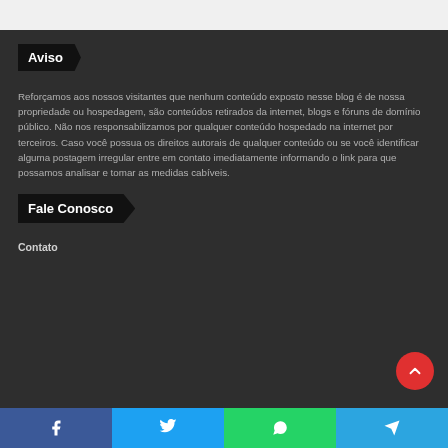Aviso
Reforçamos aos nossos visitantes que nenhum conteúdo exposto nesse blog é de nossa propriedade ou hospedagem, são conteúdos retirados da internet, blogs e fóruns de domínio público. Não nos responsabilizamos por qualquer conteúdo hospedado na internet por terceiros. Caso você possua os direitos autorais de qualquer conteúdo ou se você identificar alguma postagem irregular entre em contato imediatamente informando o link para que possamos analisar e tomar as medidas cabíveis.
Fale Conosco
Contato